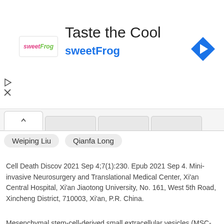[Figure (other): SweetFrog advertisement banner with logo, 'Taste the Cool' heading, 'sweetFrog' subtitle, and navigation arrow icon]
Weiping Liu   Qianfa Long
Cell Death Discov 2021 Sep 4;7(1):230. Epub 2021 Sep 4. Mini-invasive Neurosurgery and Translational Medical Center, Xi'an Central Hospital, Xi'an Jiaotong University, No. 161, West 5th Road, Xincheng District, 710003, Xi'an, P.R. China.
Mesenchymal stem-cell-derived small extracellular vesicles (MSC-EVs), as a therapeutic agent, have shown great promise in the treatment of neurological diseases. To date, the neurorestorative effects and underlying mechanism of MSC-EVs in Alzheimer's disease (AD) are not well known. Herein, we aimed to investigate the action of MSC-EVs on the neuronal deficits in β-amyloid protein (Aβ)-stimulated hippocampal neurons, or AD cell (SHSY5Y cell lines) and animal (APPswe /